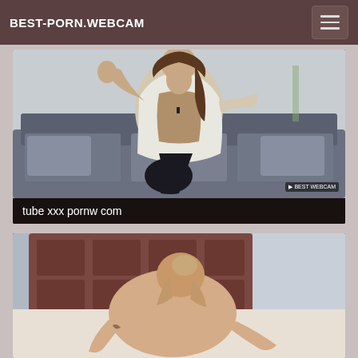BEST-PORN.WEBCAM
[Figure (screenshot): Video thumbnail showing a woman in a white jacket seated on a gray sofa, with a watermark in the bottom right corner]
tube xxx pornw com
[Figure (screenshot): Video thumbnail showing a person on a bed with brown headboard]